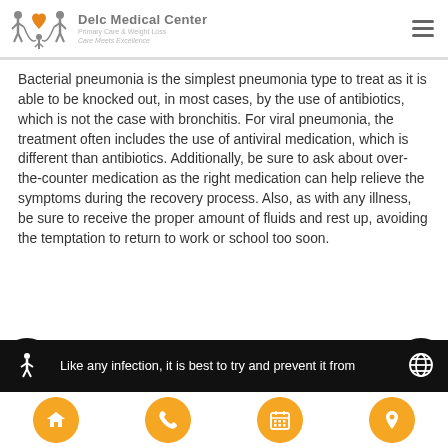Delc Medical Center — Primary Care & Weight Loss — Care Meets Excellence
Bacterial pneumonia is the simplest pneumonia type to treat as it is able to be knocked out, in most cases, by the use of antibiotics, which is not the case with bronchitis. For viral pneumonia, the treatment often includes the use of antiviral medication, which is different than antibiotics. Additionally, be sure to ask about over-the-counter medication as the right medication can help relieve the symptoms during the recovery process. Also, as with any illness, be sure to receive the proper amount of fluids and rest up, avoiding the temptation to return to work or school too soon.
Like any infection, it is best to try and prevent it from